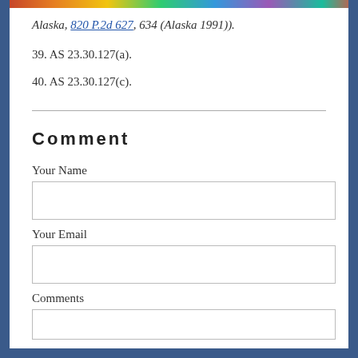Alaska, 820 P.2d 627, 634 (Alaska 1991)).
39. AS 23.30.127(a).
40. AS 23.30.127(c).
Comment
Your Name
Your Email
Comments